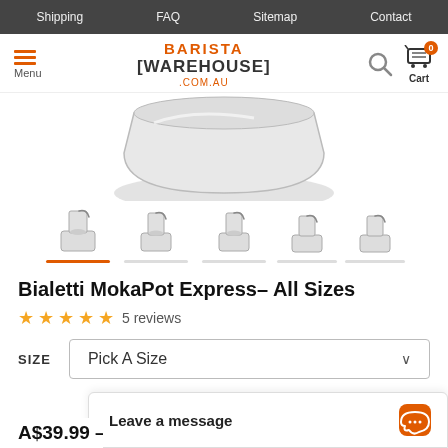Shipping  FAQ  Sitemap  Contact
[Figure (logo): Barista Warehouse .com.au logo with hamburger menu and cart icons]
[Figure (photo): Bialetti Moka Pot Express product image — silver stovetop coffee maker, partial view of bottom chamber]
[Figure (photo): Thumbnail strip of 5 Bialetti Moka Pot images showing different sizes, first one selected with orange underline]
Bialetti MokaPot Express- All Sizes
★★★★★ 5 reviews
SIZE   Pick A Size
Leave a message
A$39.99 – A$12...